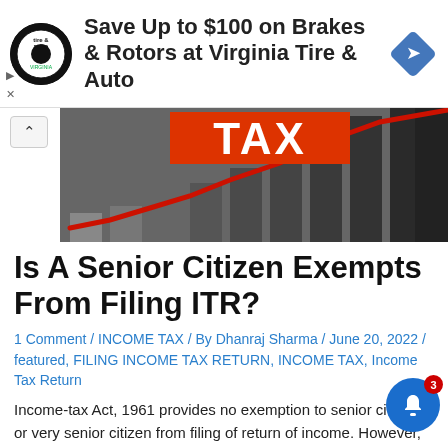[Figure (other): Advertisement banner: Save Up to $100 on Brakes & Rotors at Virginia Tire & Auto, with company logo and blue diamond arrow icon]
[Figure (other): Hero image showing bar chart rising upward with red arrow line and large TAX text on orange-red background]
Is A Senior Citizen Exempts From Filing ITR?
1 Comment / INCOME TAX / By Dhanraj Sharma / June 20, 2022 / featured, FILING INCOME TAX RETURN, INCOME TAX, Income Tax Return
Income-tax Act, 1961 provides no exemption to senior citizen or very senior citizen from filing of return of income. However, to provide relief to the